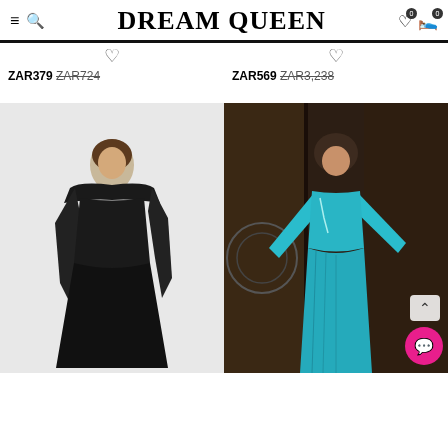DREAM QUEEN
ZAR379 ZAR724
ZAR569 ZAR3,238
[Figure (photo): Woman wearing a long black strapless gown with a chiffon wrap/shawl]
[Figure (photo): Woman wearing a turquoise/teal strapless gown with flowing cape sleeves, dark background]